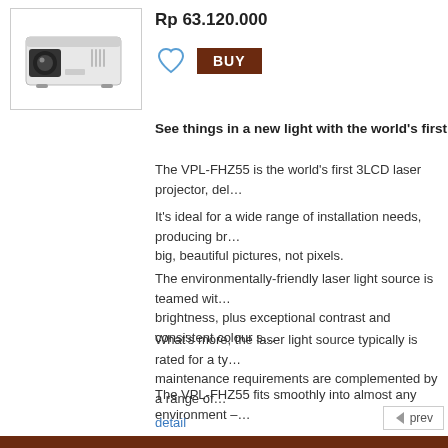[Figure (photo): White Sony VPL-FHZ55 3LCD laser projector]
Rp 63.120.000
See things in a new light with the world's first 3LCD laser pro…
The VPL-FHZ55 is the world's first 3LCD laser projector, del…
It's ideal for a wide range of installation needs, producing br… big, beautiful pictures, not pixels.
The environmentally-friendly laser light source is teamed wit… brightness, plus exceptional contrast and consistent colour s…
What's more, the laser light source typically is rated for a ty… maintenance requirements are complemented by a range of…
The VPL-FHZ55 fits smoothly into almost any environment –… spaces. Seamlessly blend images from multiple projectors t… at any angle – even on its side or upside down. With the VP…
detail